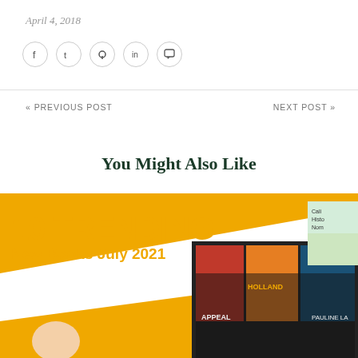April 4, 2018
Social share icons: Facebook, Twitter, Pinterest, LinkedIn, Comment
« PREVIOUS POST    NEXT POST »
You Might Also Like
[Figure (photo): Promotional image for '10 Trending New Books July 2021' with book covers collage on yellow and white background]